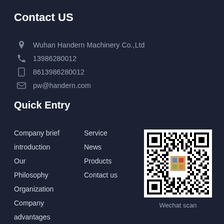Contact US
Wuhan Handern Machinery Co.,Ltd
13986280012
8613986280012
pw@handern.com
Quick Entry
Company brief
introduction
Our
Philosophy
Organization
Company
advantages
Service
News
Products
Contact us
[Figure (other): QR code for WeChat scan linking to Wuhan Handern Machinery Co.,Ltd WeChat account]
Wechat scan